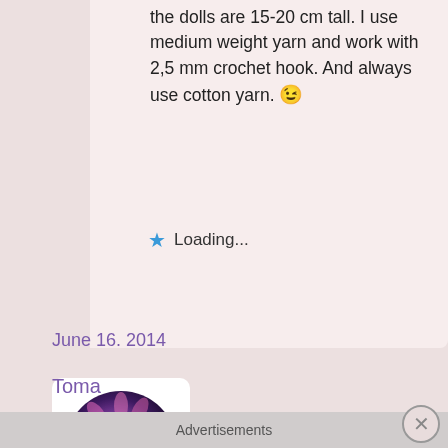the dolls are 15-20 cm tall. I use medium weight yarn and work with 2,5 mm crochet hook. And always use cotton yarn. 😉
Loading...
[Figure (photo): Circular crocheted item with purple and pink colors resembling a flower or mandala, displayed as a user avatar]
Toma
June 16. 2014
Advertisements